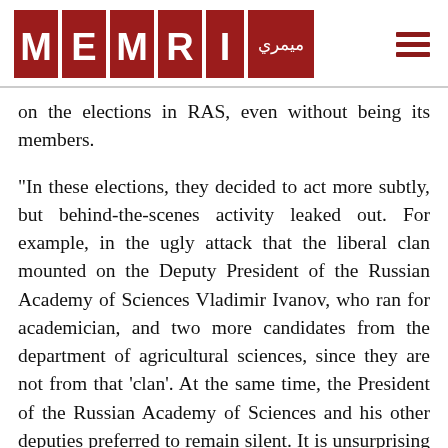MEMRI
on the elections in RAS, even without being its members.
"In these elections, they decided to act more subtly, but behind-the-scenes activity leaked out. For example, in the ugly attack that the liberal clan mounted on the Deputy President of the Russian Academy of Sciences Vladimir Ivanov, who ran for academician, and two more candidates from the department of agricultural sciences, since they are not from that 'clan'. At the same time, the President of the Russian Academy of Sciences and his other deputies preferred to remain silent. It is unsurprising that the academy's leadership has not yet expressed its position in relation